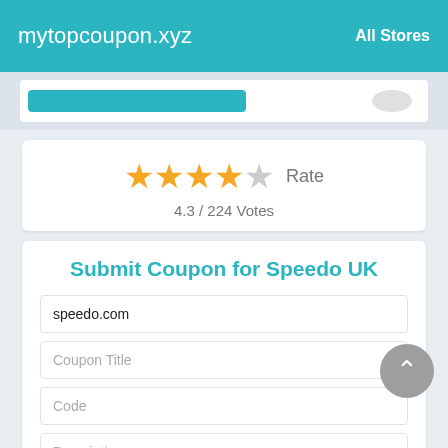mytopcoupon.xyz   All Stores
[Figure (other): Partial teal button bar visible at top of white card]
★★★★☆ Rate
4.3 / 224 Votes
Submit Coupon for Speedo UK
speedo.com
Coupon Title
Code
Description
Expiration